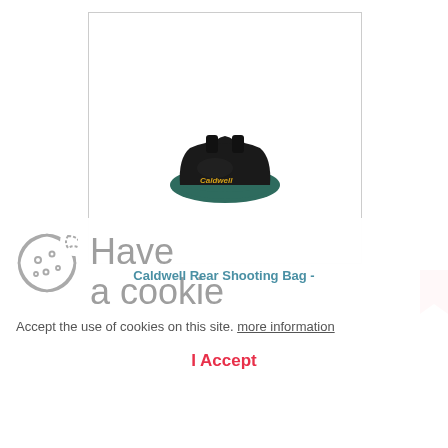[Figure (photo): Caldwell Rear Shooting Bag product photo on white background inside bordered box]
Caldwell Rear Shooting Bag -
Have a cookie
Accept the use of cookies on this site. more information
I Accept